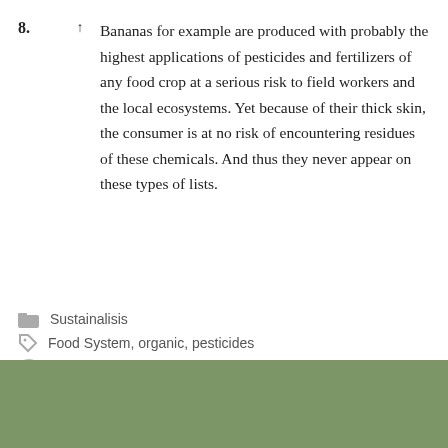8. ↑ Bananas for example are produced with probably the highest applications of pesticides and fertilizers of any food crop at a serious risk to field workers and the local ecosystems. Yet because of their thick skin, the consumer is at no risk of encountering residues of these chemicals. And thus they never appear on these types of lists.
Sustainalisis
Food System, organic, pesticides
3 Comments
Print This Post   Email This Post